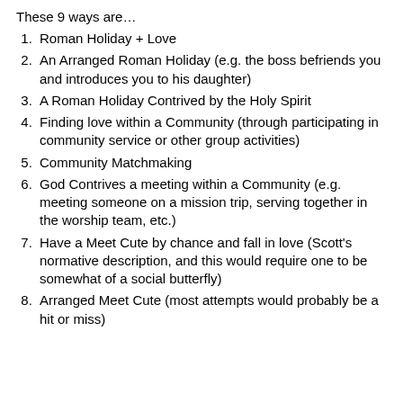These 9 ways are…
Roman Holiday + Love
An Arranged Roman Holiday (e.g. the boss befriends you and introduces you to his daughter)
A Roman Holiday Contrived by the Holy Spirit
Finding love within a Community (through participating in community service or other group activities)
Community Matchmaking
God Contrives a meeting within a Community (e.g. meeting someone on a mission trip, serving together in the worship team, etc.)
Have a Meet Cute by chance and fall in love (Scott's normative description, and this would require one to be somewhat of a social butterfly)
Arranged Meet Cute (most attempts would probably be a hit or miss)